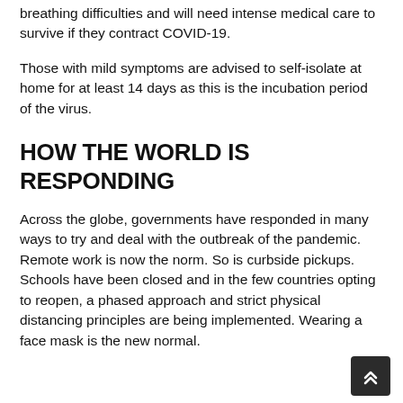breathing difficulties and will need intense medical care to survive if they contract COVID-19.
Those with mild symptoms are advised to self-isolate at home for at least 14 days as this is the incubation period of the virus.
HOW THE WORLD IS RESPONDING
Across the globe, governments have responded in many ways to try and deal with the outbreak of the pandemic. Remote work is now the norm. So is curbside pickups. Schools have been closed and in the few countries opting to reopen, a phased approach and strict physical distancing principles are being implemented. Wearing a face mask is the new normal.